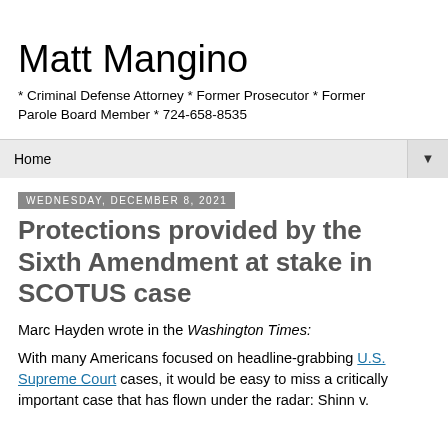Matt Mangino
* Criminal Defense Attorney * Former Prosecutor * Former Parole Board Member * 724-658-8535
Home ▼
Wednesday, December 8, 2021
Protections provided by the Sixth Amendment at stake in SCOTUS case
Marc Hayden wrote in the Washington Times:
With many Americans focused on headline-grabbing U.S. Supreme Court cases, it would be easy to miss a critically important case that has flown under the radar: Shinn v.